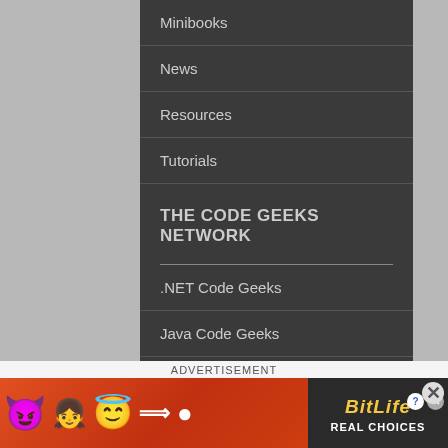Minibooks
News
Resources
Tutorials
THE CODE GEEKS NETWORK
.NET Code Geeks
Java Code Geeks
System Code Geeks
Web Code Geeks
HALL OF FAME
ADVERTISEMENT
[Figure (photo): BitLife advertisement banner showing emoji characters and BitLife Real Choices branding]